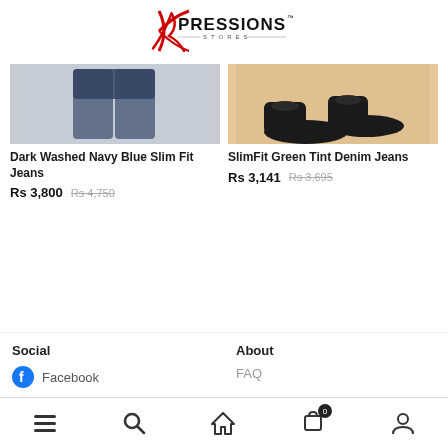[Figure (logo): Xpressions Stores logo in red and black]
[Figure (photo): Dark washed navy blue slim fit jeans product image]
Dark Washed Navy Blue Slim Fit Jeans
Rs 3,800  Rs 4,750
[Figure (photo): SlimFit Green Tint Denim Jeans with shoes on beige background]
SlimFit Green Tint Denim Jeans
Rs 3,141  Rs 3,695
Social
About
Facebook
FAQ
Navigation bar with menu, search, home, cart (0), profile icons